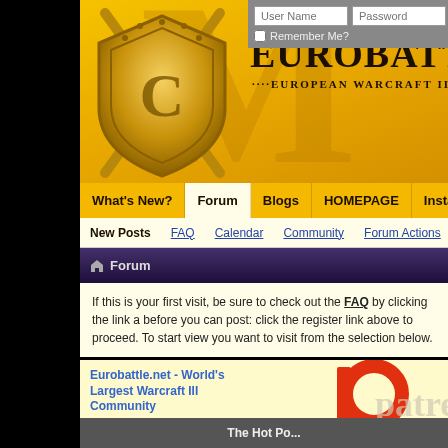[Figure (screenshot): EuroBattle.net website header banner with golden/yellow background, shield logo and 'EUROBATTLE' title text, 'European Warcraft III PvP' subtitle, and a large decorative M watermark]
User Name  Password
Remember Me?
What's New?  Forum  Blogs  HOMEPAGE  Install
New Posts  FAQ  Calendar  Community  Forum Actions  Q
Forum
If this is your first visit, be sure to check out the FAQ by clicking the link a before you can post: click the register link above to proceed. To start view you want to visit from the selection below.
Eurobattle.net - World's Largest Warcraft III Community
Welcome to the Eurobattle.net World's Largest Warcraft III Community.
[Figure (logo): Patreon logo - red circular P symbol with 'patreo' text visible]
The Hot Po...